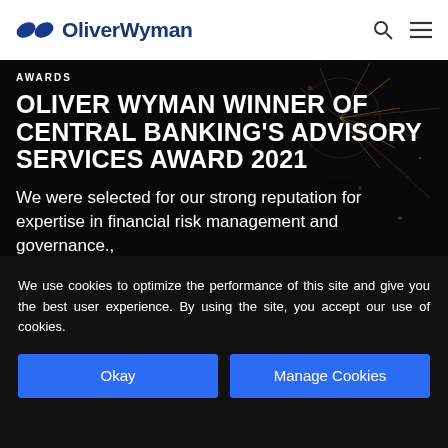OliverWyman
[Figure (photo): Dark background with fireworks/bokeh lights, showing an awards announcement for Oliver Wyman]
AWARDS
OLIVER WYMAN WINNER OF CENTRAL BANKING'S ADVISORY SERVICES AWARD 2021
We were selected for our strong reputation for expertise in financial risk management and governance.,
We use cookies to optimize the performance of this site and give you the best user experience. By using the site, you accept our use of cookies.
Okay
Manage Cookies